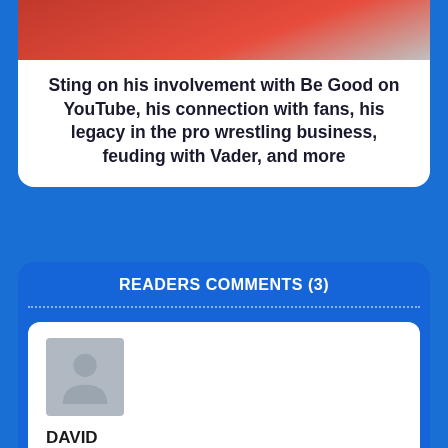[Figure (photo): Partial image of a person wearing a red shirt, cropped at the top of the page]
Sting on his involvement with Be Good on YouTube, his connection with fans, his legacy in the pro wrestling business, feuding with Vader, and more
READERS COMMENTS (3)
[Figure (photo): Gray placeholder avatar silhouette icon for user DAVID]
DAVID
September 1, 2020 @ 1:50 pm